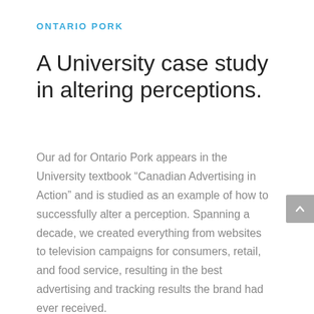ONTARIO PORK
A University case study in altering perceptions.
Our ad for Ontario Pork appears in the University textbook “Canadian Advertising in Action” and is studied as an example of how to successfully alter a perception. Spanning a decade, we created everything from websites to television campaigns for consumers, retail, and food service, resulting in the best advertising and tracking results the brand had ever received.